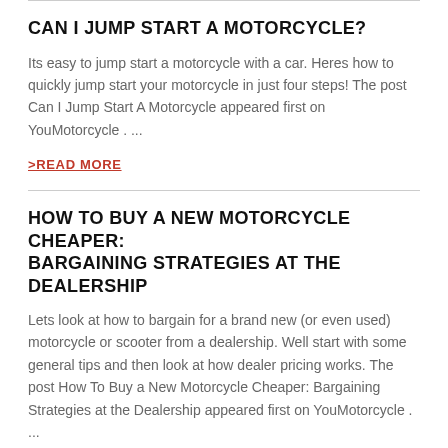CAN I JUMP START A MOTORCYCLE?
Its easy to jump start a motorcycle with a car. Heres how to quickly jump start your motorcycle in just four steps! The post Can I Jump Start A Motorcycle appeared first on YouMotorcycle . ...
>READ MORE
HOW TO BUY A NEW MOTORCYCLE CHEAPER: BARGAINING STRATEGIES AT THE DEALERSHIP
Lets look at how to bargain for a brand new (or even used) motorcycle or scooter from a dealership. Well start with some general tips and then look at how dealer pricing works. The post How To Buy a New Motorcycle Cheaper: Bargaining Strategies at the Dealership appeared first on YouMotorcycle . ...